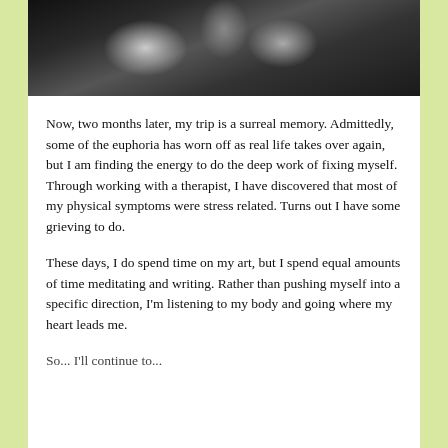[Figure (photo): Black and white photograph, appears to show a dramatic sky or rock formation with dark and light contrasting areas]
Now, two months later, my trip is a surreal memory. Admittedly, some of the euphoria has worn off as real life takes over again, but I am finding the energy to do the deep work of fixing myself. Through working with a therapist, I have discovered that most of my physical symptoms were stress related. Turns out I have some grieving to do.
These days, I do spend time on my art, but I spend equal amounts of time meditating and writing. Rather than pushing myself into a specific direction, I'm listening to my body and going where my heart leads me.
So... I'll continue to...